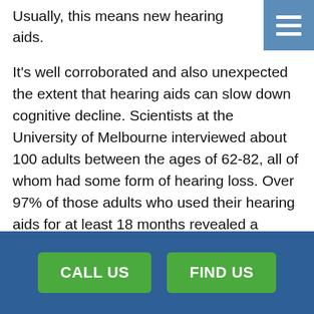Usually, this means new hearing aids.
It’s well corroborated and also unexpected the extent that hearing aids can slow down cognitive decline. Scientists at the University of Melbourne interviewed about 100 adults between the ages of 62-82, all of whom had some form of hearing loss. Over 97% of those adults who used their hearing aids for at least 18 months revealed a stabilization or even reversal of that cognitive decline.
Just using hearing aids resulted in an almost universal improvement. That tells us a couple of things:
[Figure (other): Navigation hamburger menu icon: three white horizontal lines on a blue-grey square background, positioned in the top-right corner.]
CALL US   FIND US